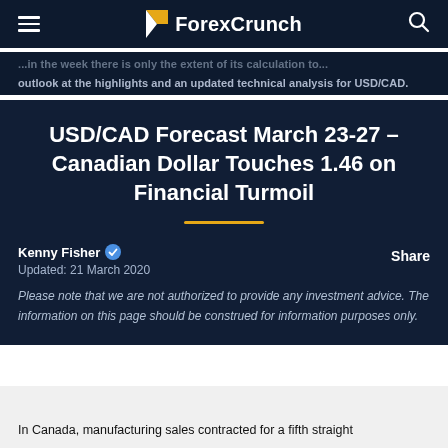ForexCrunch
outlook at the highlights and an updated technical analysis for USD/CAD.
USD/CAD Forecast March 23-27 – Canadian Dollar Touches 1.46 on Financial Turmoil
Kenny Fisher — Updated: 21 March 2020
Please note that we are not authorized to provide any investment advice. The information on this page should be construed for information purposes only.
In Canada, manufacturing sales contracted for a fifth straight